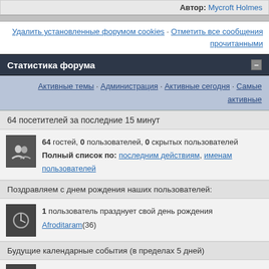Автор: Mycroft Holmes
Удалить установленные форумом cookies · Отметить все сообщения прочитанными
Статистика форума
Активные темы · Администрация · Активные сегодня · Самые активные
64 посетителей за последние 15 минут
64 гостей, 0 пользователей, 0 скрытых пользователей
Полный список по: последним действиям, именам пользователей
Поздравляем с днем рождения наших пользователей:
1 пользователь празднует свой день рождения Afroditaram(36)
Будущие календарные события (в пределах 5 дней)
Отсутствуют
Статистика форума
На форуме сообщений: 3881
Зарегистрировано пользователей: 1508